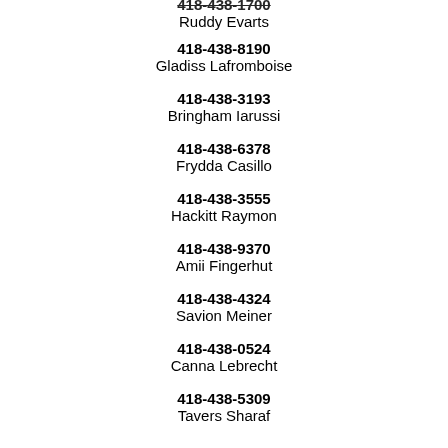418-438-1700 (partial) / Ruddy Evarts
418-438-8190 / Gladiss Lafromboise
418-438-3193 / Bringham Iarussi
418-438-6378 / Frydda Casillo
418-438-3555 / Hackitt Raymon
418-438-9370 / Amii Fingerhut
418-438-4324 / Savion Meiner
418-438-0524 / Canna Lebrecht
418-438-5309 / Tavers Sharaf